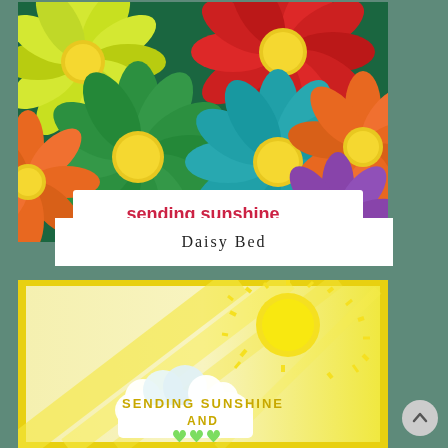[Figure (photo): Handmade card with colorful daisy flowers in yellow, green, red, teal, orange, and purple with text 'sending sunshine' at the bottom on a dark green background]
Daisy Bed
[Figure (photo): Handmade card with yellow sunshine rays, white clouds, a yellow sun, and text 'SENDING SUNSHINE AND' with green hearts on a yellow gradient background]